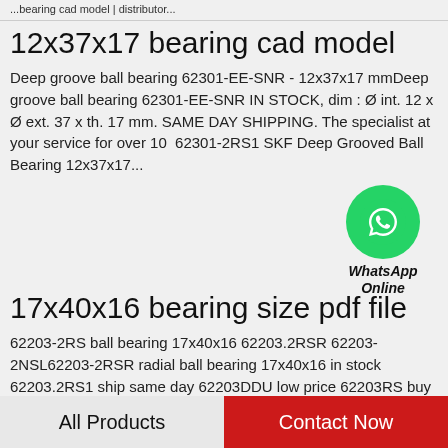...bearing cad model | distributor...
12x37x17 bearing cad model
Deep groove ball bearing 62301-EE-SNR - 12x37x17 mmDeep groove ball bearing 62301-EE-SNR IN STOCK, dim : Ø int. 12 x Ø ext. 37 x th. 17 mm. SAME DAY SHIPPING. The specialist at your service for over 10  62301-2RS1 SKF Deep Grooved Ball Bearing 12x37x17...
[Figure (logo): WhatsApp green circle icon with phone handset, labeled WhatsApp Online]
17x40x16 bearing size pdf file
62203-2RS ball bearing 17x40x16 62203.2RSR 62203-2NSL62203-2RSR radial ball bearing 17x40x16 in stock 62203.2RS1 ship same day 62203DDU low price 62203RS buy online 62203-2NSE bearings direct 62203-2rs SKF Ball Bearing 62203-2rs1 17x40x16
All Products    Contact Now